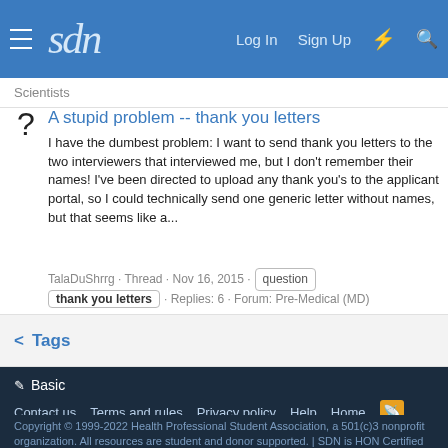sdn | Log In  Sign Up
Scientists
A stupid problem -- thank you letters
I have the dumbest problem: I want to send thank you letters to the two interviewers that interviewed me, but I don't remember their names! I've been directed to upload any thank you's to the applicant portal, so I could technically send one generic letter without names, but that seems like a...
TalaDuShrrg · Thread · Nov 16, 2015 · question · thank you letters · Replies: 6 · Forum: Pre-Medical (MD)
< Tags
✏ Basic
Contact us  Terms and rules  Privacy policy  Help  Home
Copyright © 1999-2022 Health Professional Student Association, a 501(c)3 nonprofit organization. All resources are student and donor supported. | SDN is HON Certified